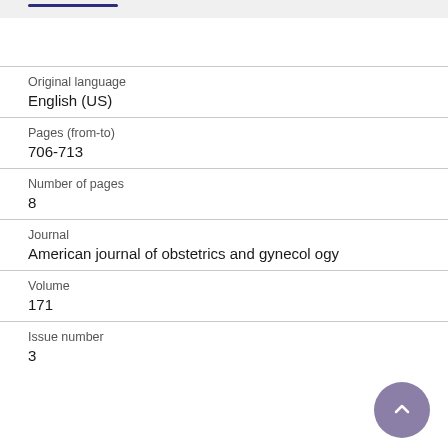Original language
English (US)
Pages (from-to)
706-713
Number of pages
8
Journal
American journal of obstetrics and gynecology
Volume
171
Issue number
3